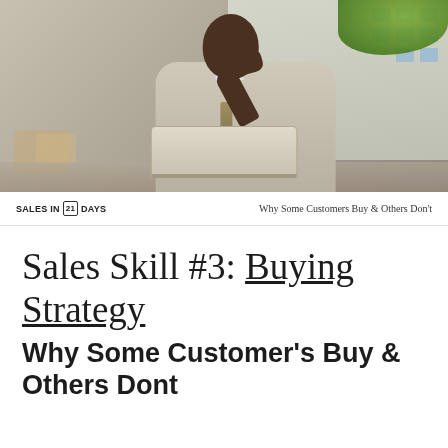[Figure (photo): A man in a light suit gesturing with his hand raised while working on a laptop outdoors, with a building and greenery in the background]
SALES IN 21 DAYS    Why Some Customers Buy & Others Don't
Sales Skill #3: Buying Strategy
Why Some Customer's Buy & Others Dont